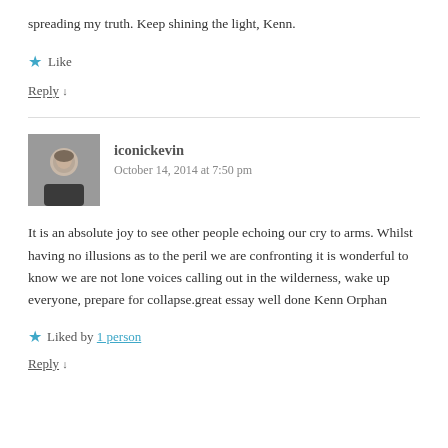spreading my truth. Keep shining the light, Kenn.
Like
Reply ↓
iconickevin
October 14, 2014 at 7:50 pm
It is an absolute joy to see other people echoing our cry to arms. Whilst having no illusions as to the peril we are confronting it is wonderful to know we are not lone voices calling out in the wilderness, wake up everyone, prepare for collapse.great essay well done Kenn Orphan
Liked by 1 person
Reply ↓